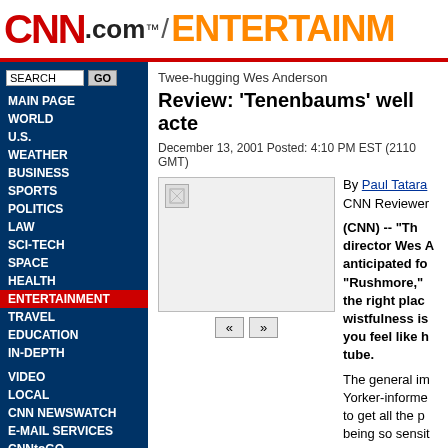CNN.com / ENTERTAINM
MAIN PAGE
WORLD
U.S.
WEATHER
BUSINESS
SPORTS
POLITICS
LAW
SCI-TECH
SPACE
HEALTH
ENTERTAINMENT
TRAVEL
EDUCATION
IN-DEPTH
VIDEO
LOCAL
CNN NEWSWATCH
E-MAIL SERVICES
CNNtoGO
ABOUT US/HELP
CNN TV
what's on
show transcripts
Twee-hugging Wes Anderson
Review: 'Tenenbaums' well acte
December 13, 2001 Posted: 4:10 PM EST (2110 GMT)
[Figure (photo): Broken image placeholder in article about Tenenbaums review]
By Paul Tatara
CNN Reviewer

(CNN) -- "Th director Wes A anticipated fo "Rushmore," the right plac wistfulness is you feel like h tube.

The general im Yorker-informe to get all the p being so sensit